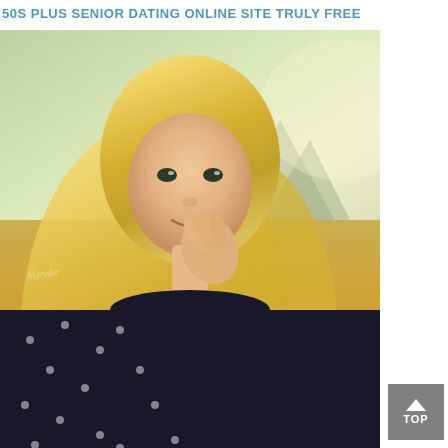50S PLUS SENIOR DATING ONLINE SITE TRULY FREE
[Figure (photo): Portrait photo of a young blonde woman with long straight hair, wearing a dark polka dot top, posing with her hand near her chin. Outdoor setting with blurred green and golden field background. Watermark 'Skyryder' visible on the left side. Photo dimensions approximately 380x418px.]
[Figure (other): Grey 'TOP' scroll-to-top button with upward arrow in bottom right corner]